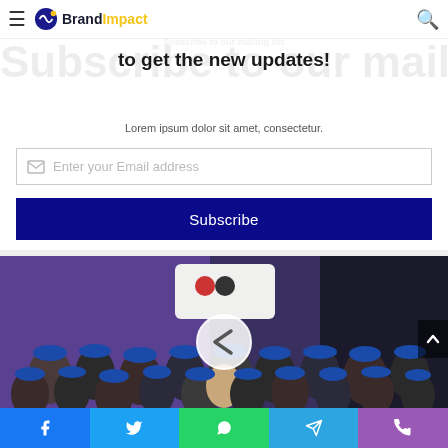BrandImpact — navigation bar with hamburger menu and search icon
Subscribe to our mailing list to get the new updates!
Lorem ipsum dolor sit amet, consectetur.
Enter your Email address
Subscribe
[Figure (photo): Group photo of many people wearing matching grey uniforms and blue caps, posed in front of a purple backdrop. A circular back-navigation arrow is overlaid in the center.]
Social sharing buttons: Facebook, Twitter, WhatsApp, Telegram, Phone